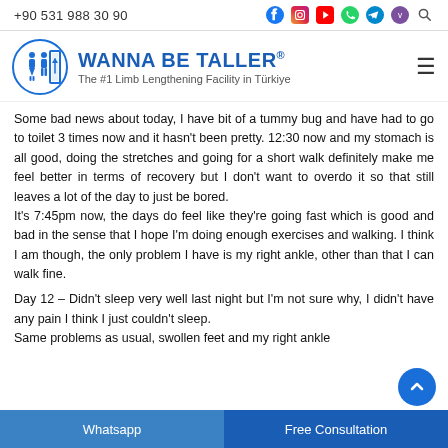+90 531 988 30 90
[Figure (logo): Wanna Be Taller logo with two human figures inside a circle and text 'WANNA BE TALLER® The #1 Limb Lengthening Facility in Türkiye']
Some bad news about today, I have bit of a tummy bug and have had to go to toilet 3 times now and it hasn't been pretty. 12:30 now and my stomach is all good, doing the stretches and going for a short walk definitely make me feel better in terms of recovery but I don't want to overdo it so that still leaves a lot of the day to just be bored.
It's 7:45pm now, the days do feel like they're going fast which is good and bad in the sense that I hope I'm doing enough exercises and walking. I think I am though, the only problem I have is my right ankle, other than that I can walk fine.
Day 12 – Didn't sleep very well last night but I'm not sure why, I didn't have any pain I think I just couldn't sleep.
Same problems as usual, swollen feet and my right ankle
Whatsapp | Free Consultation